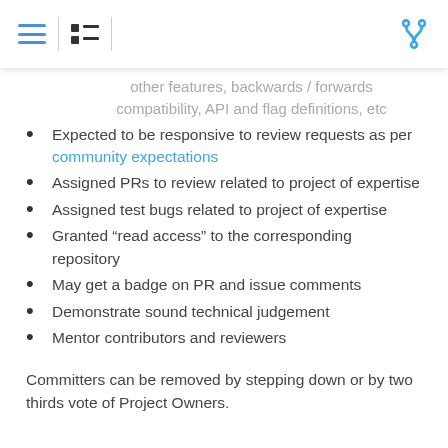[hamburger menu icon] [list icon] [git fork icon]
other features, backwards / forwards compatibility, API and flag definitions, etc
Expected to be responsive to review requests as per community expectations
Assigned PRs to review related to project of expertise
Assigned test bugs related to project of expertise
Granted “read access” to the corresponding repository
May get a badge on PR and issue comments
Demonstrate sound technical judgement
Mentor contributors and reviewers
Committers can be removed by stepping down or by two thirds vote of Project Owners.